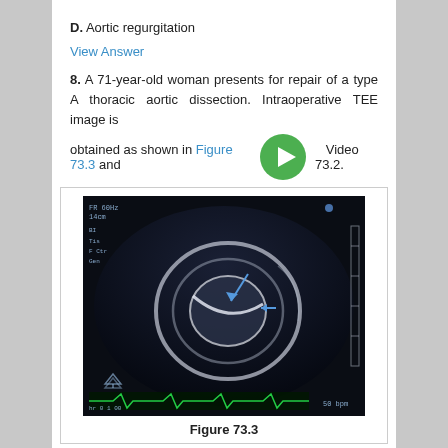D. Aortic regurgitation
View Answer
8. A 71-year-old woman presents for repair of a type A thoracic aortic dissection. Intraoperative TEE image is obtained as shown in Figure 73.3 and Video 73.2.
[Figure (photo): Intraoperative transesophageal echocardiography (TEE) ultrasound image showing a cross-sectional view of the aorta with blue arrows indicating the dissection flap. Dark background with bright white echogenic structures visible.]
Figure 73.3